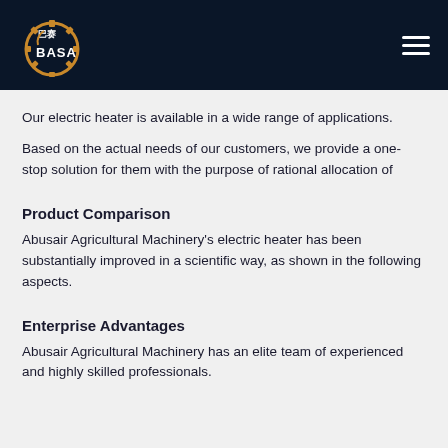BASA
Our electric heater is available in a wide range of applications.
Based on the actual needs of our customers, we provide a one-stop solution for them with the purpose of rational allocation of
Product Comparison
Abusair Agricultural Machinery's electric heater has been substantially improved in a scientific way, as shown in the following aspects.
Enterprise Advantages
Abusair Agricultural Machinery has an elite team of experienced and highly skilled professionals.